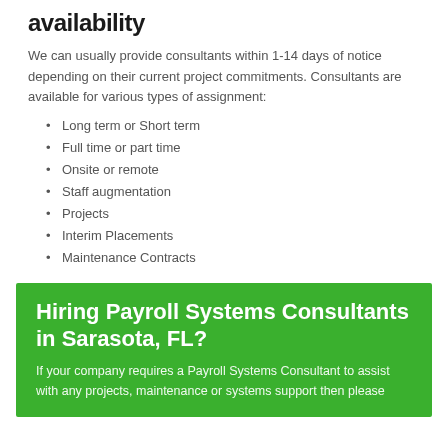availability
We can usually provide consultants within 1-14 days of notice depending on their current project commitments. Consultants are available for various types of assignment:
Long term or Short term
Full time or part time
Onsite or remote
Staff augmentation
Projects
Interim Placements
Maintenance Contracts
Hiring Payroll Systems Consultants in Sarasota, FL?
If your company requires a Payroll Systems Consultant to assist with any projects, maintenance or systems support then please